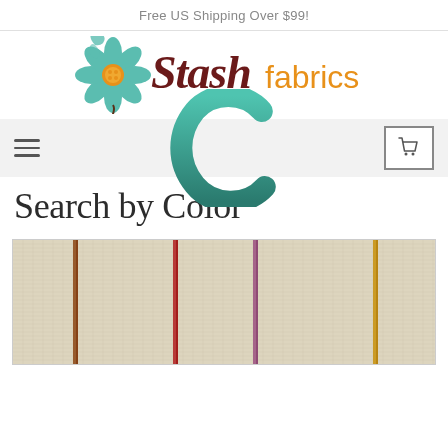Free US Shipping Over $99!
[Figure (logo): Stash Fabrics logo with teal flower and cursive text]
[Figure (other): Navigation bar with hamburger menu, large teal letter C overlay, and shopping cart icon]
Search by Color
[Figure (photo): Cream/off-white linen fabric with vertical colored stripes in brown, red, purple, and gold/yellow]